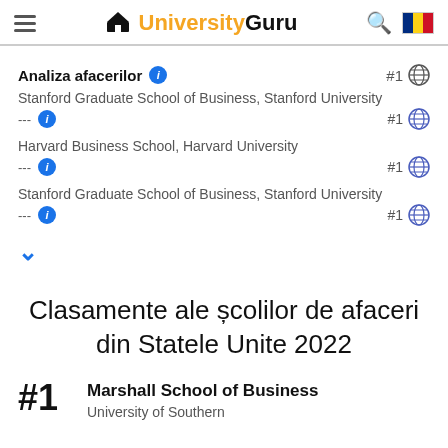UniversityGuru
Analiza afacerilor #1
Stanford Graduate School of Business, Stanford University --- #1
Harvard Business School, Harvard University --- #1
Stanford Graduate School of Business, Stanford University --- #1
Clasamente ale școlilor de afaceri din Statele Unite 2022
#1 Marshall School of Business University of Southern